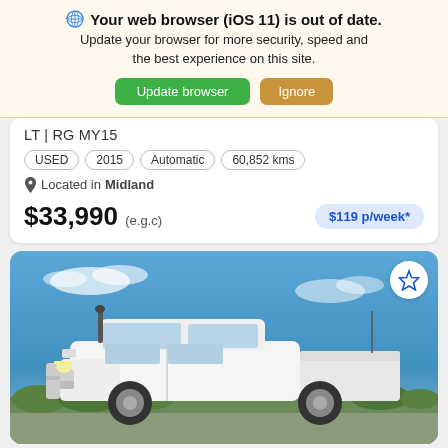Your web browser (iOS 11) is out of date. Update your browser for more security, speed and the best experience on this site. [Update browser] [Ignore]
LT | RG MY15
USED | 2015 | Automatic | 60,852 kms
Located in Midland
$33,990 (e.g.c)   $119 p/week*
[Figure (photo): White dual-cab ute/pickup truck parked outdoors under a clear blue sky with some clouds and green shrubs in background]